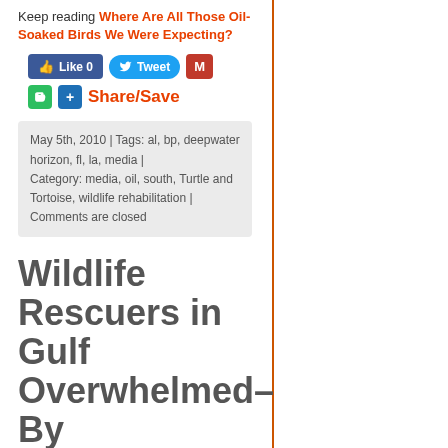Keep reading Where Are All Those Oil-Soaked Birds We Were Expecting?
[Figure (other): Social sharing buttons: Facebook Like (0), Tweet, Gmail, Evernote, AddThis Share/Save]
May 5th, 2010 | Tags: al, bp, deepwater horizon, fl, la, media | Category: media, oil, south, Turtle and Tortoise, wildlife rehabilitation | Comments are closed
Wildlife Rescuers in Gulf Overwhelmed–By Volunteers, Not Patients